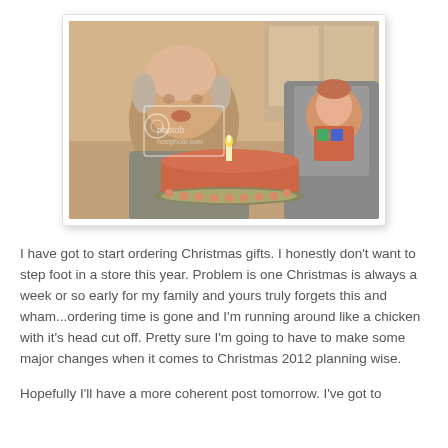[Figure (photo): A man blowing out a candle on a round red/orange frosted birthday cake while a baby in a high chair watches, indoors with warm lighting. A photobucket watermark is visible on the image.]
I have got to start ordering Christmas gifts. I honestly don't want to step foot in a store this year. Problem is one Christmas is always a week or so early for my family and yours truly forgets this and wham...ordering time is gone and I'm running around like a chicken with it's head cut off. Pretty sure I'm going to have to make some major changes when it comes to Christmas 2012 planning wise.
Hopefully I'll have a more coherent post tomorrow. I've got to